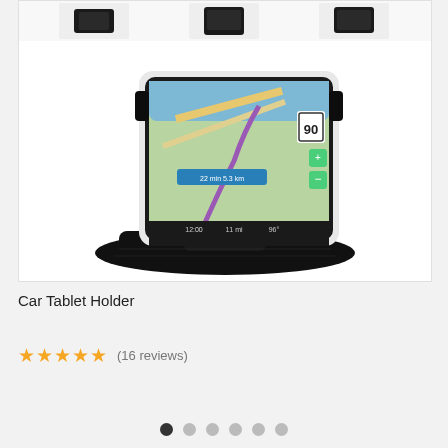[Figure (photo): Product photo of a Car Tablet Holder - a black dashboard mount holding a tablet/phone displaying a GPS navigation map. Multiple angle shots visible at top, main image shows tablet with navigation app on black silicone dash mount.]
Car Tablet Holder
★★★★★ (16 reviews)